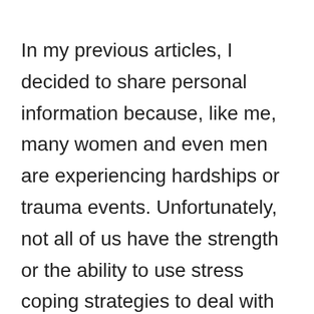In my previous articles, I decided to share personal information because, like me, many women and even men are experiencing hardships or trauma events. Unfortunately, not all of us have the strength or the ability to use stress coping strategies to deal with life challenges.
The more I live, the more I believe how some individuals are so ungrateful to have amazing partners, children, and